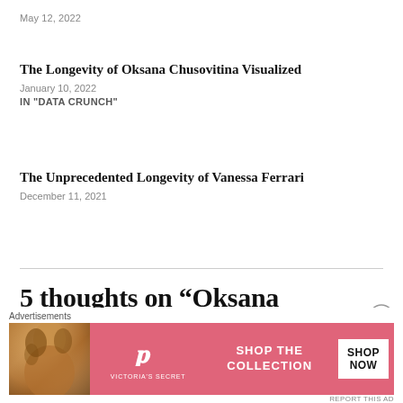May 12, 2022
The Longevity of Oksana Chusovitina Visualized
January 10, 2022
IN "DATA CRUNCH"
The Unprecedented Longevity of Vanessa Ferrari
December 11, 2021
5 thoughts on “Oksana Chusovitina Is No Longer the
[Figure (photo): Victoria's Secret advertisement banner with model photo, VS logo, 'SHOP THE COLLECTION' text, and 'SHOP NOW' button on pink background]